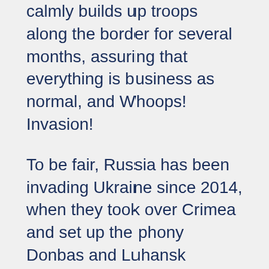calmly builds up troops along the border for several months, assuring that everything is business as normal, and Whoops! Invasion!
To be fair, Russia has been invading Ukraine since 2014, when they took over Crimea and set up the phony Donbas and Luhansk “People’s Republics.” Since that time, there’s been ongoing low level terrorist attacks and fatalities arising from Donbas and Luhansk. So this seems to be a continuation of Russian aggression starting in 2014.
But why now? The situation’s been reasonably stable for eight years. It’s not like any of the conquered areas were